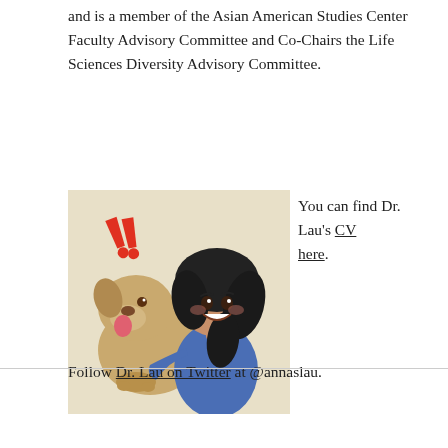and is a member of the Asian American Studies Center Faculty Advisory Committee and Co-Chairs the Life Sciences Diversity Advisory Committee.
[Figure (illustration): Cartoon illustration of a young woman with long black hair wearing a blue top, hugging a brown dog. Red double exclamation marks appear above. Background is a light beige/tan color.]
You can find Dr. Lau's CV here.
Follow Dr. Lau on Twitter at @annaslau.